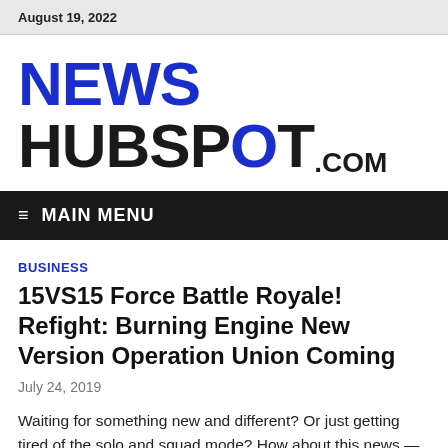August 19, 2022
NEWS HUBSPOT.COM
≡  MAIN MENU
BUSINESS
15VS15 Force Battle Royale! Refight: Burning Engine New Version Operation Union Coming
July 24, 2019
Waiting for something new and different? Or just getting tired of the solo and squad mode? How about this news —